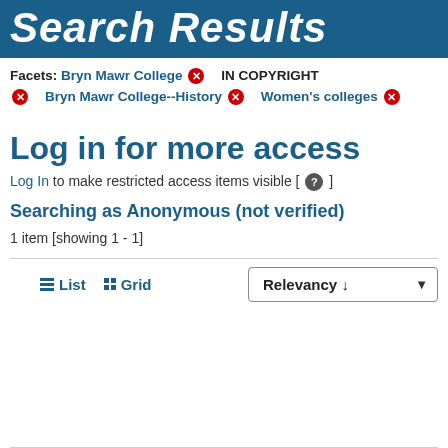Search Results
Facets: Bryn Mawr College [x]   IN COPYRIGHT [x]   Bryn Mawr College--History [x]   Women's colleges [x]
Log in for more access
Log In to make restricted access items visible [ ? ]
Searching as Anonymous (not verified)
1 item [showing 1 - 1]
≡ List  ⊞ Grid  Relevancy ↓